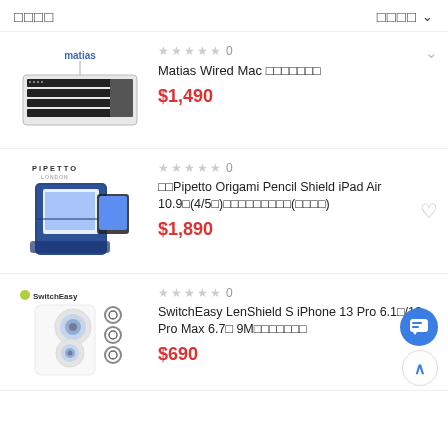□□□□  □□□□ ∨
★★★★★ 0  Matias Wired Mac □□□□□□□  $1,490
★★★★★ 0  □□Pipetto Origami Pencil Shield iPad Air 10.9□(4/5□)□□□□□□□□□(□□□□)  $1,890
★★★★★ 0  SwitchEasy LenShield S iPhone 13 Pro 6.1□/13 Pro Max 6.7□ 9M□□□□□□□  $690